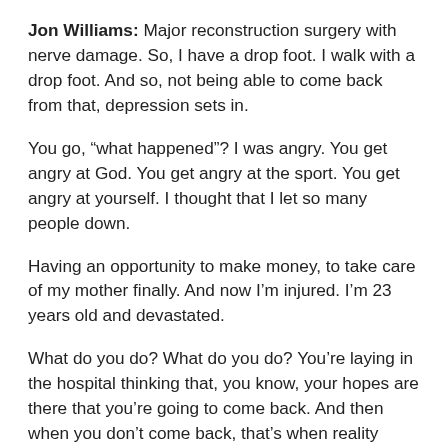Jon Williams: Major reconstruction surgery with nerve damage. So, I have a drop foot. I walk with a drop foot. And so, not being able to come back from that, depression sets in.
You go, “what happened”? I was angry. You get angry at God. You get angry at the sport. You get angry at yourself. I thought that I let so many people down.
Having an opportunity to make money, to take care of my mother finally. And now I’m injured. I’m 23 years old and devastated.
What do you do? What do you do? You’re laying in the hospital thinking that, you know, your hopes are there that you’re going to come back. And then when you don’t come back, that’s when reality starts in.